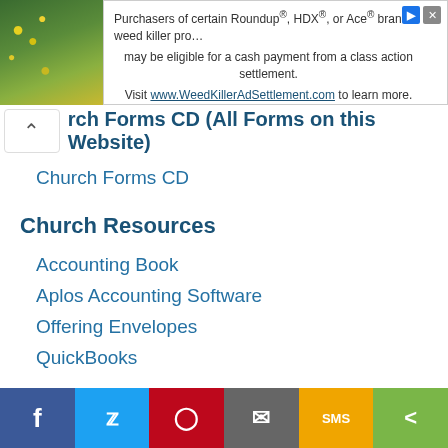[Figure (screenshot): Advertisement banner for Roundup/HDX/Ace weed killer class action settlement at WeedKillerAdSettlement.com]
rch Forms CD (All Forms on this Website)
Church Forms CD
Church Resources
Accounting Book
Aplos Accounting Software
Offering Envelopes
QuickBooks
Misc. Free Resources
This site uses cookies, some of which are required for its operation. Privacy
[Figure (screenshot): Social sharing bar with Facebook, Twitter, Pinterest, Email, SMS, and More buttons]